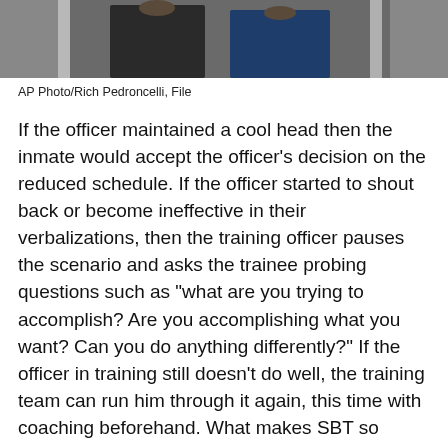[Figure (photo): Partial view of two or more people in formal attire, cropped at the top of the page]
AP Photo/Rich Pedroncelli, File
If the officer maintained a cool head then the inmate would accept the officer’s decision on the reduced schedule. If the officer started to shout back or become ineffective in their verbalizations, then the training officer pauses the scenario and asks the trainee probing questions such as “what are you trying to accomplish? Are you accomplishing what you want? Can you do anything differently?” If the officer in training still doesn’t do well, the training team can run him through it again, this time with coaching beforehand. What makes SBT so successful is it tests the initial response of officers. This way the training cadre knows what sort of skill sets the officer actually poses.
Regardless of the scenario, this sort of training can be